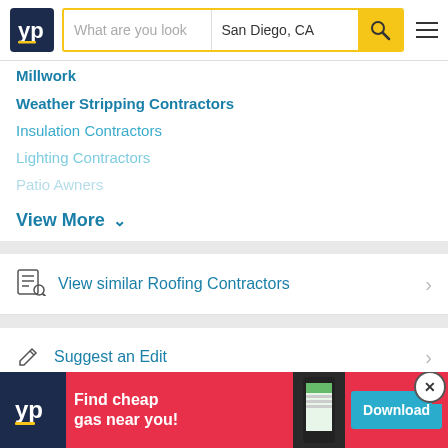[Figure (screenshot): YellowPages (YP) website header with logo, search bar showing 'What are you look' placeholder and 'San Diego, CA', yellow search button with magnifying glass icon, and hamburger menu]
Millwork
Weather Stripping Contractors
Insulation Contractors
Lighting Contractors
Patio Awners
View More ∨
View similar Roofing Contractors >
Suggest an Edit >
Brow
[Figure (screenshot): Ad banner: YP logo on dark navy background, red background, text 'Find cheap gas near you!', phone screenshot, teal Download button, and X close button]